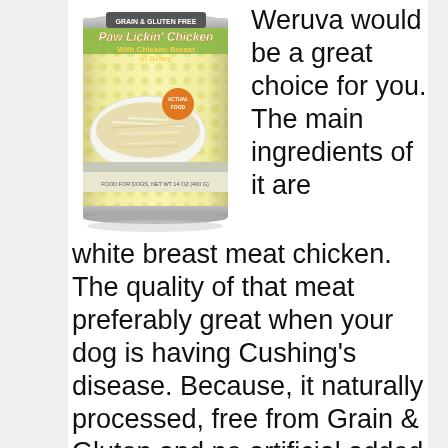[Figure (photo): A can of Weruva 'Paw Lickin' Chicken With Chicken Breast in Gravy' dog food. The can has a yellow and white design with a GRAIN & GLUTEN FREE label at the top, and shows a bowl of shredded chicken. Text at the bottom reads 'FOOD FOR DOGS, NET WT 14 OZ (400 G)'. An orange heart badge reads 'ACTUAL FOOD'.]
Weruva would be a great choice for you. The main ingredients of it are white breast meat chicken. The quality of that meat preferably great when your dog is having Cushing's disease. Because, it naturally processed, free from Grain & Gluten and no artificial added colors or any preservatives.